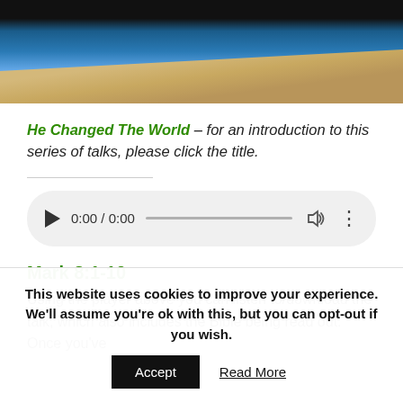[Figure (photo): Aerial/satellite view of Earth from space, showing ocean, landmass, and atmosphere with dark space at top.]
He Changed The World – for an introduction to this series of talks, please click the title.
[Figure (other): Audio player UI element showing play button, time display 0:00 / 0:00, progress bar, volume icon, and options dots.]
Mark 8:1-10
Using the player above you can listen to/download the talk, which also includes the Bible being read out. Once you've
This website uses cookies to improve your experience. We'll assume you're ok with this, but you can opt-out if you wish.